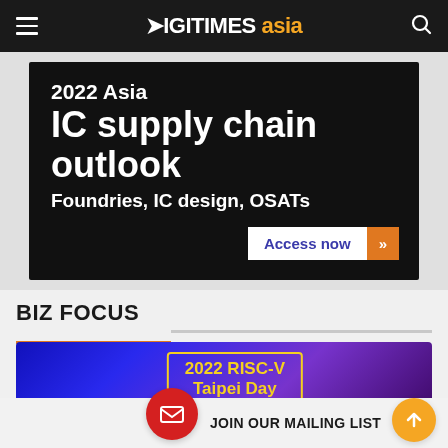DIGITIMES asia
[Figure (photo): 2022 Asia IC supply chain outlook advertisement banner. Shows text: '2022 Asia IC supply chain outlook', 'Foundries, IC design, OSATs', with an 'Access now' button with orange arrow.]
BIZ FOCUS
[Figure (photo): 2022 RISC-V Taipei Day event banner. Shows event name '2022 RISC-V Taipei Day', date 'Sep.15 8:30-12:30 (GMT+8)', venue 'Luxury Ballroom, Grand Luxe Banquet', text 'Drive Innovation', and 'Register Your Seat Now' CTA. Blue/purple gradient background.]
JOIN OUR MAILING LIST